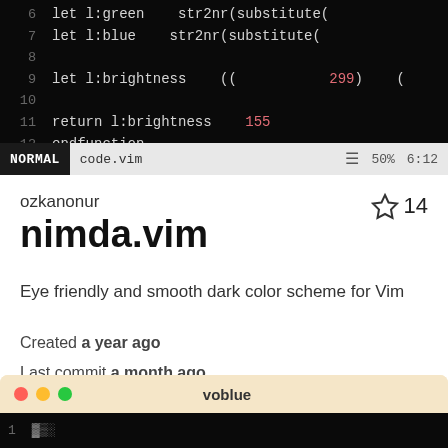[Figure (screenshot): Vim editor screenshot showing VimScript code with line numbers 6-12. Dark background. Lines show: 6: let l:green   str2nr(substitute(, 7: let l:blue   str2nr(substitute(, 8: (empty), 9: let l:brightness  ((  299)  (, 10: (empty), 11: return l:brightness  155, 12: endfunction. Status bar shows NORMAL mode, code.vim filename, hamburger icon, 50%, 6:12]
ozkanonur
nimda.vim
Eye friendly and smooth dark color scheme for Vim
Created a year ago
Last commit a month ago
[Figure (screenshot): Bottom of a macOS terminal window titled 'voblue' with red, yellow, green traffic light buttons. Dark code area visible at bottom.]